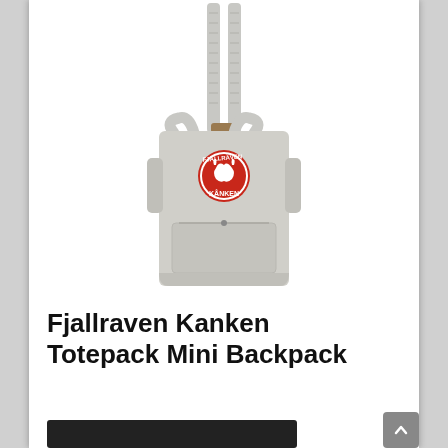[Figure (photo): A light gray Fjallraven Kanken Totepack Mini Backpack shown from the front on a white background. The bag has long shoulder straps, short carry handles, a front pocket with zipper, side pockets, and the iconic circular Fjallraven Kanken red logo badge on the front.]
Fjallraven Kanken Totepack Mini Backpack